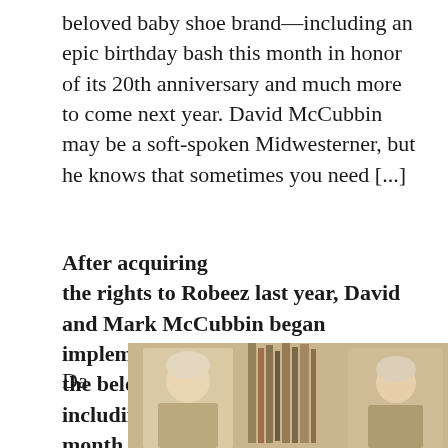beloved baby shoe brand—including an epic birthday bash this month in honor of its 20th anniversary and much more to come next year. David McCubbin may be a soft-spoken Midwesterner, but he knows that sometimes you need [...]
After acquiring the rights to Robeez last year, David and Mark McCubbin began implementing big improvements to the beloved baby shoe brand—including an epic birthday bash this month in honor of its 20th anniversary and much more to come next year.
Da
[Figure (photo): Partial photo showing two people, possibly with bookshelves in the background. Photo is cropped at the bottom of the page.]